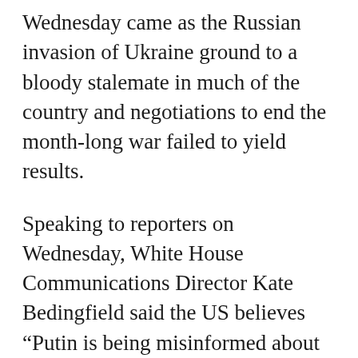Wednesday came as the Russian invasion of Ukraine ground to a bloody stalemate in much of the country and negotiations to end the month-long war failed to yield results.
Speaking to reporters on Wednesday, White House Communications Director Kate Bedingfield said the US believes “Putin is being misinformed about how badly the Russian military is performing and how the Russian economy is being crippled by sanctions because his senior advisers are too afraid to tell him the truth”.
The intelligence findings also indicate that Putin is now aware of the situation on